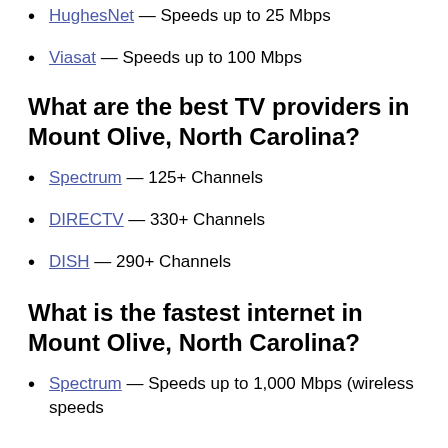HughesNet — Speeds up to 25 Mbps
Viasat — Speeds up to 100 Mbps
What are the best TV providers in Mount Olive, North Carolina?
Spectrum — 125+ Channels
DIRECTV — 330+ Channels
DISH — 290+ Channels
What is the fastest internet in Mount Olive, North Carolina?
Spectrum — Speeds up to 1,000 Mbps (wireless speeds